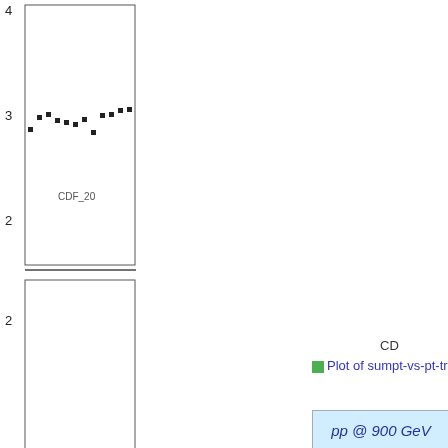[Figure (continuous-plot): Partially visible scientific plot showing two panels. Top panel: scatter plot of square data points ranging y ~2.5–3.0 with label 'CDF_20'. Bottom panel: ratio plot labeled 'Ratio to CDF' on y-axis with y range 0.5–2, showing a yellow band around y=1.0 with a horizontal black line. X-axis shows values starting at 20 and 30. The plot is cut off on right side.]
CD
Plot of sumpt-vs-pt-trm...
pp @ 900 GeV